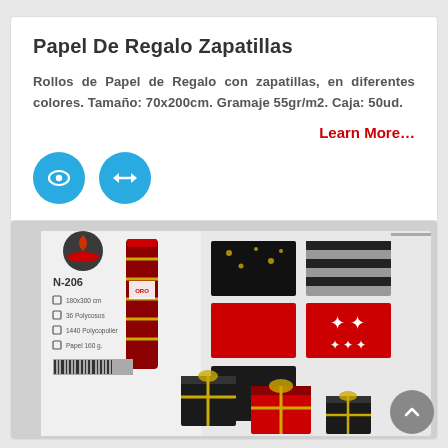Papel De Regalo Zapatillas
Rollos de Papel de Regalo con zapatillas, en diferentes colores. Tamaño: 70x200cm. Gramaje 55gr/m2. Caja: 50ud.
Learn More…
[Figure (illustration): Two teal circular icon buttons: one with an eye icon and one with an arrows/expand icon]
[Figure (photo): Product catalog image showing gift wrapping paper rolls (N-206), showing 180x300cm size, 36 polycosos, 1440 polycopolier, Papel 160g, with sample patterns in red, black, gold stripes and star designs, and wrapped gift boxes.]